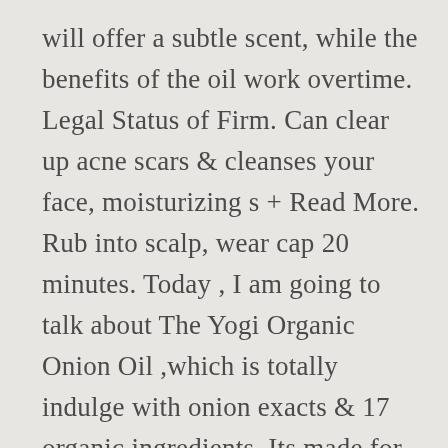will offer a subtle scent, while the benefits of the oil work overtime. Legal Status of Firm. Can clear up acne scars & cleanses your face, moisturizing s + Read More. Rub into scalp, wear cap 20 minutes. Today , I am going to talk about The Yogi Organic Onion Oil ,which is totally indulge with onion exacts & 17 organic ingredients .Its made for stimulate hair growth system .Because it contains red onion , Brahmi & Bhringraj. HOW TO USE . In order to cater to large manufacturers, smaller aspiring artisans and everyone in between, we have structured our pricing to accommodate purchases in a wide range of sizes and quantities. WOW Onion Black Seed Hair Oil for Natural Hair Care and